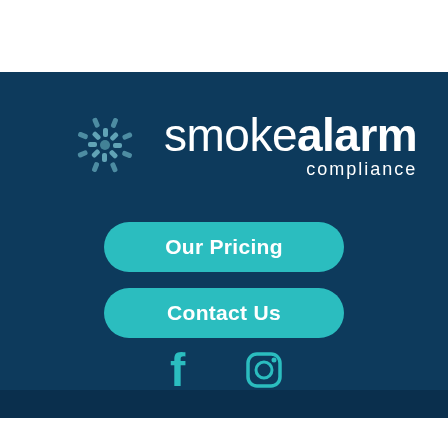[Figure (logo): Smoke Alarm Compliance logo with radial signal icon and text 'smokealarm compliance' on dark blue background]
Our Pricing
Contact Us
[Figure (other): Facebook and Instagram social media icons in teal color]